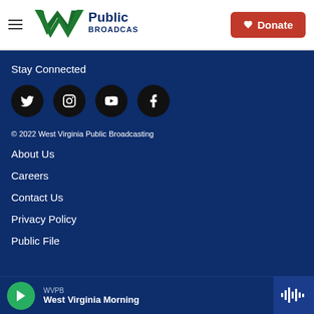[Figure (logo): WV Public Broadcasting logo with hamburger menu and Donate button]
Stay Connected
[Figure (infographic): Social media icons: Twitter, Instagram, YouTube, Facebook — dark circular buttons]
© 2022 West Virginia Public Broadcasting
About Us
Careers
Contact Us
Privacy Policy
Public File
[Figure (infographic): Audio player bar with green play button, WVPB station label, 'West Virginia Morning' show title, and waveform icon]